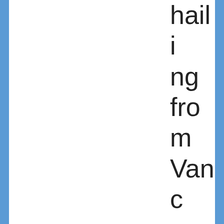hailing from Vancouver Island, BC. I've spent the last 8 joyous years work